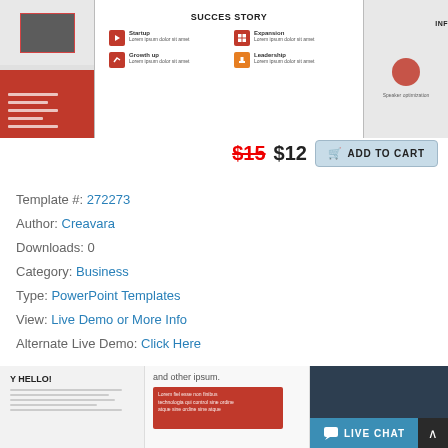[Figure (screenshot): Slide preview showing three PowerPoint template slides: left slide with red bottom panel and white text lines, center slide titled SUCCES STORY with icon grid (Startup, Expansion, Growth up, Leadership), right slide partially cut off showing INF and a circle graphic]
$15 $12  ADD TO CART
Template #: 272273
Author: Creavara
Downloads: 0
Category: Business
Type: PowerPoint Templates
View: Live Demo or More Info
Alternate Live Demo: Click Here
[Figure (screenshot): Bottom strip showing three partial slide previews: left with 'Y HELLO!' text and lines, middle with 'and other ipsum.' text and red box, right with dark photo of person at laptop]